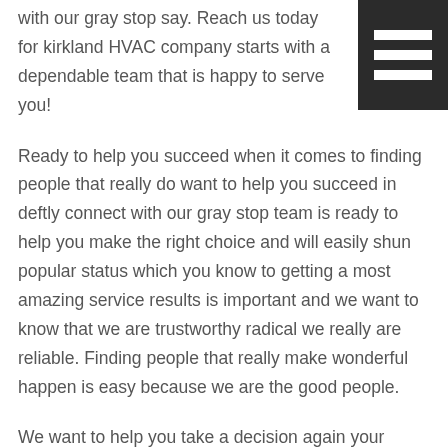with our gray stop say. Reach us today for kirkland HVAC company starts with a dependable team that is happy to serve you!
Ready to help you succeed when it comes to finding people that really do want to help you succeed in deftly connect with our gray stop team is ready to help you make the right choice and will easily shun popular status which you know to getting a most amazing service results is important and we want to know that we are trustworthy radical we really are reliable. Finding people that really make wonderful happen is easy because we are the good people.
We want to help you take a decision again your heating done to resolve because it makes a great